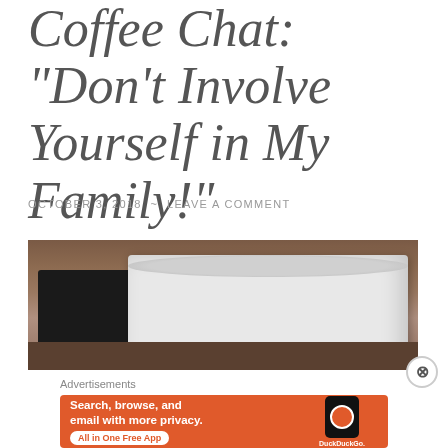Coffee Chat: “Don’t Involve Yourself in My Family!”
OCTOBER 3, 2018 ~ LEAVE A COMMENT
[Figure (photo): Close-up photo of coffee mugs on a table, including a white ceramic mug and a black mug]
Advertisements
[Figure (screenshot): DuckDuckGo advertisement banner with orange background showing text 'Search, browse, and email with more privacy. All in One Free App' with a phone graphic showing DuckDuckGo logo]